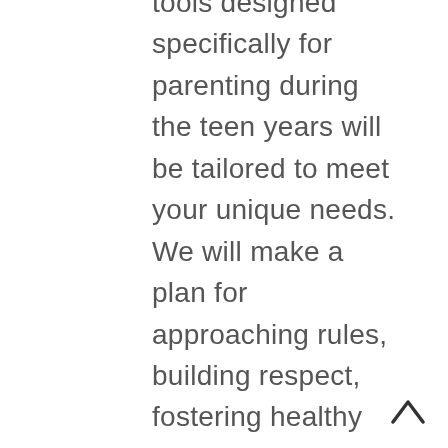tools designed specifically for parenting during the teen years will be tailored to meet your unique needs. We will make a plan for approaching rules, building respect, fostering healthy communication and cooperation, expectations for school, home and social life, and the
[Figure (other): Back to top arrow icon (upward chevron/caret) in dark color, bottom-right corner]